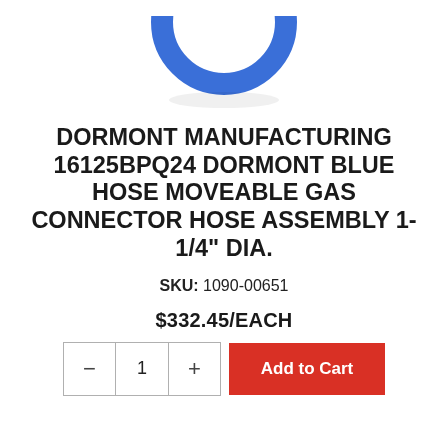[Figure (photo): Blue O-ring / hose connector ring product photo, partially cropped at top of image, shown centered on white background]
DORMONT MANUFACTURING 16125BPQ24 DORMONT BLUE HOSE MOVEABLE GAS CONNECTOR HOSE ASSEMBLY 1-1/4" DIA.
SKU: 1090-00651
$332.45/EACH
- 1 + Add to Cart